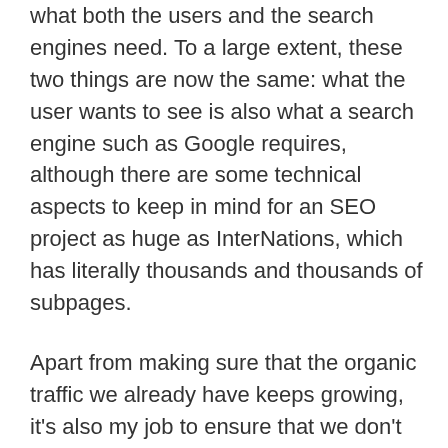what both the users and the search engines need. To a large extent, these two things are now the same: what the user wants to see is also what a search engine such as Google requires, although there are some technical aspects to keep in mind for an SEO project as huge as InterNations, which has literally thousands and thousands of subpages.
Apart from making sure that the organic traffic we already have keeps growing, it's also my job to ensure that we don't do anything that makes it hard for Google and other search engines to access and interpret our content; in the latter case, we could end up losing a lot of organic traffic rather quickly. Since organic traffic is free, unlike the other online marketing channels, such as Facebook ads, this is